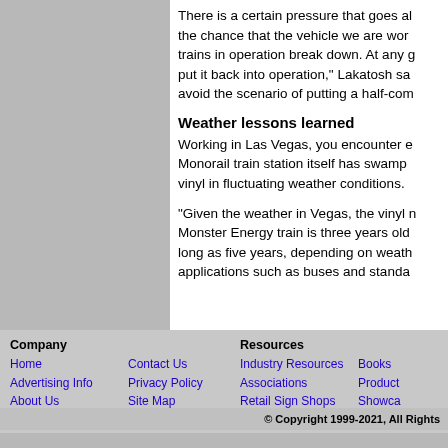There is a certain pressure that goes along with the chance that the vehicle we are working trains in operation break down. At any given time, put it back into operation," Lakatosh says, to avoid the scenario of putting a half-com...
Weather lessons learned
Working in Las Vegas, you encounter extreme weather. The Monorail train station itself has swamp coolers... vinyl in fluctuating weather conditions.
“Given the weather in Vegas, the vinyl needs... Monster Energy train is three years old... long as five years, depending on weather... applications such as buses and standard...
Company | Home | Contact Us | Advertising Info | Privacy Policy | About Us | Site Map | Resources | Industry Resources | Books | Associations | Product Showcase | Retail Sign Shops | Event Calendar | © Copyright 1999-2021, All Rights